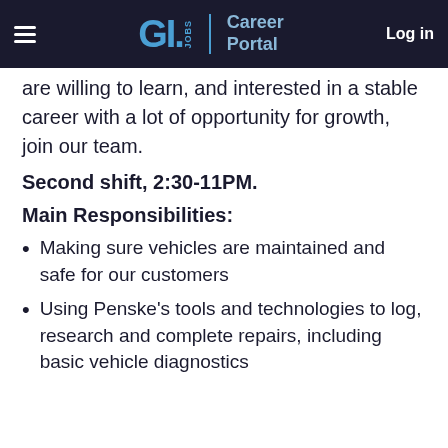G.I. Jobs | Career Portal   Log in
are willing to learn, and interested in a stable career with a lot of opportunity for growth, join our team.
Second shift, 2:30-11PM.
Main Responsibilities:
Making sure vehicles are maintained and safe for our customers
Using Penske's tools and technologies to log, research and complete repairs, including basic vehicle diagnostics